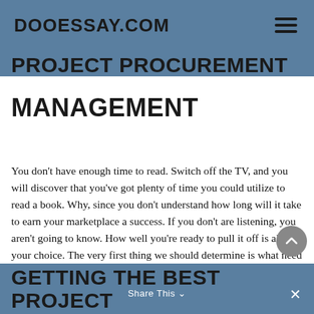DOOESSAY.COM
PROJECT PROCUREMENT MANAGEMENT
You don't have enough time to read. Switch off the TV, and you will discover that you've got plenty of time you could utilize to read a book. Why, since you don't understand how long will it take to earn your marketplace a success. If you don't are listening, you aren't going to know. How well you're ready to pull it off is all your choice. The very first thing we should determine is what need is the behavior trying to satisfy. As soon as you understand your demands, you can differentiate between them and specify a time frame during which you may fulfill them.
GETTING THE BEST PROJECT